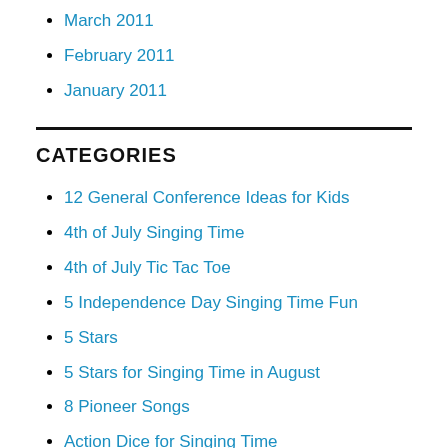March 2011
February 2011
January 2011
CATEGORIES
12 General Conference Ideas for Kids
4th of July Singing Time
4th of July Tic Tac Toe
5 Independence Day Singing Time Fun
5 Stars
5 Stars for Singing Time in August
8 Pioneer Songs
Action Dice for Singing Time